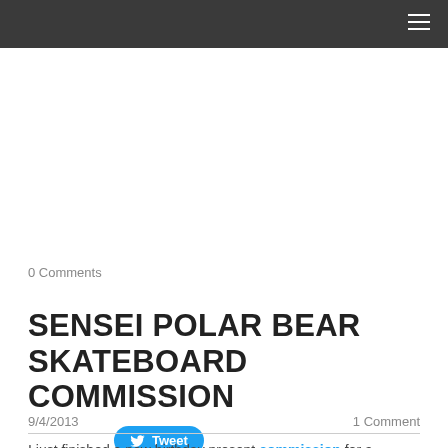≡
[Figure (other): Tweet button with Twitter bird icon]
0 Comments
SENSEI POLAR BEAR SKATEBOARD COMMISSION
9/4/2013   1 Comment
I just finished a new birthday present commission for a